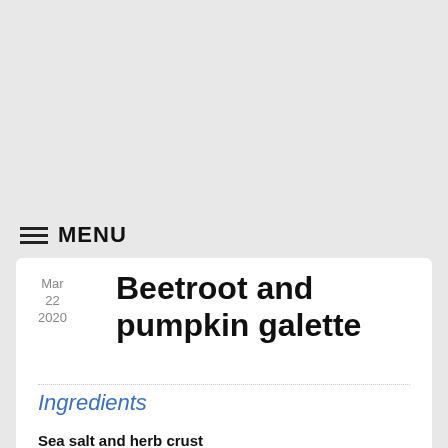MENU
Beetroot and pumpkin galette
Mar 22 2020
Ingredients
Sea salt and herb crust
2 cups self raising flour
2 teaspoons dried Italian herb seasoning
2 tablespoons sugar
2 teaspoons salt
1/3 cup oil
water as required to bind things together